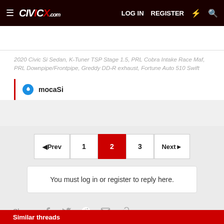CivicX.com — LOG IN  REGISTER
2020 Civic Si Sedan, K-Tuner TSP Stage 1.5, PRL Cobra Intake Race Maf, PRL Downpipe/Frontpipe, Greddy DD-R exhaust, Fortune Auto 510 Swift
mocaSi
◄Prev  1  2  3  Next►
You must log in or register to reply here.
Share:
Similar threads